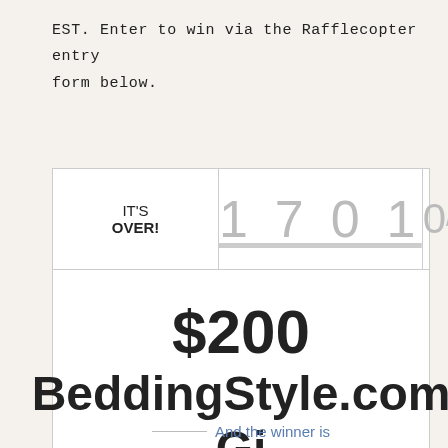EST. Enter to win via the Rafflecopter entry form below.
[Figure (screenshot): Rafflecopter giveaway widget showing IT'S OVER! with 1701 entries and 0/9 winners, prize is $200 BeddingStyle.com Gift Certificate, with 'And the winner is' text at bottom]